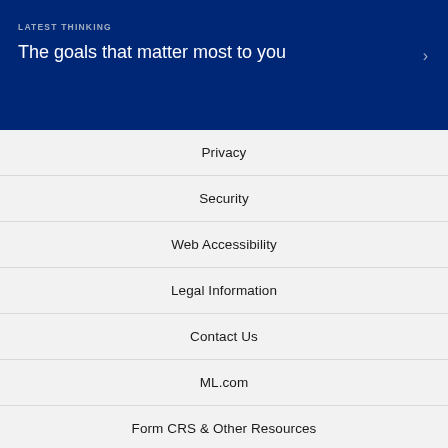LATEST THINKING
The goals that matter most to you
Privacy
Security
Web Accessibility
Legal Information
Contact Us
ML.com
Form CRS & Other Resources
BrokerCheck